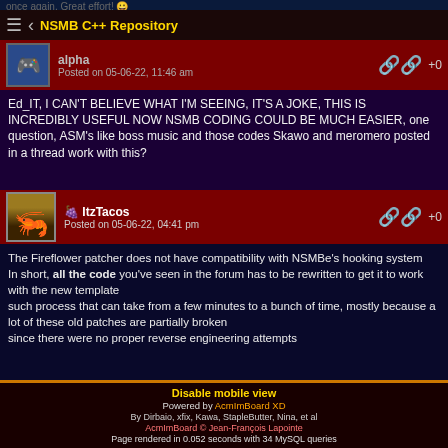NSMB C++ Repository
once again. Great effort! 😊
alpha
Posted on 05-06-22, 11:46 am
+0
Ed_IT, I CAN'T BELIEVE WHAT I'M SEEING, IT'S A JOKE, THIS IS INCREDIBLY USEFUL NOW NSMB CODING COULD BE MUCH EASIER, one question, ASM's like boss music and those codes Skawo and meromero posted in a thread work with this?
ItzTacos
Posted on 05-06-22, 04:41 pm
+0
The Fireflower patcher does not have compatibility with NSMBe's hooking system
In short, all the code you've seen in the forum has to be rewritten to get it to work with the new template
such process that can take from a few minutes to a bunch of time, mostly because a lot of these old patches are partially broken
since there were no proper reverse engineering attempts
Pages:  1
Disable mobile view
Powered by AcmImBoard XD
By Dirbaio, xfix, Kawa, StapleButter, Nina, et al
AcmImBoard © Jean-François Lapointe
Page rendered in 0.052 seconds with 34 MySQL queries